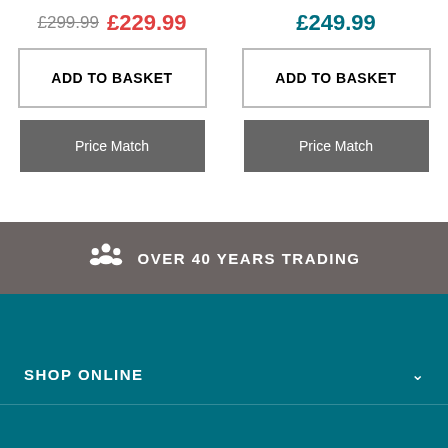£299.99  £229.99   £249.99
ADD TO BASKET
ADD TO BASKET
Price Match
Price Match
OVER 40 YEARS TRADING
SHOP ONLINE
ABOUT US
CUSTOMER SERVICE